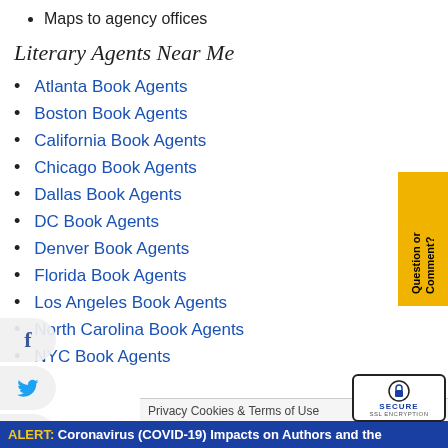Maps to agency offices
Literary Agents Near Me
Atlanta Book Agents
Boston Book Agents
California Book Agents
Chicago Book Agents
Dallas Book Agents
DC Book Agents
Denver Book Agents
Florida Book Agents
Los Angeles Book Agents
North Carolina Book Agents
NYC Book Agents
Privacy Cookies & Terms of Use
ALERT: Coronavirus (COVID-19) Impacts on Authors and the